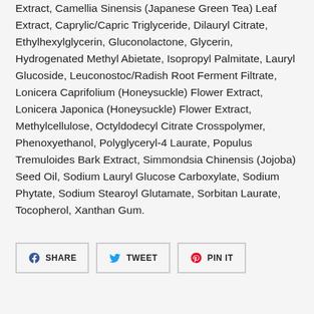Extract, Camellia Sinensis (Japanese Green Tea) Leaf Extract, Caprylic/Capric Triglyceride, Dilauryl Citrate, Ethylhexylglycerin, Gluconolactone, Glycerin, Hydrogenated Methyl Abietate, Isopropyl Palmitate, Lauryl Glucoside, Leuconostoc/Radish Root Ferment Filtrate, Lonicera Caprifolium (Honeysuckle) Flower Extract, Lonicera Japonica (Honeysuckle) Flower Extract, Methylcellulose, Octyldodecyl Citrate Crosspolymer, Phenoxyethanol, Polyglyceryl-4 Laurate, Populus Tremuloides Bark Extract, Simmondsia Chinensis (Jojoba) Seed Oil, Sodium Lauryl Glucose Carboxylate, Sodium Phytate, Sodium Stearoyl Glutamate, Sorbitan Laurate, Tocopherol, Xanthan Gum.
SHARE
TWEET
PIN IT